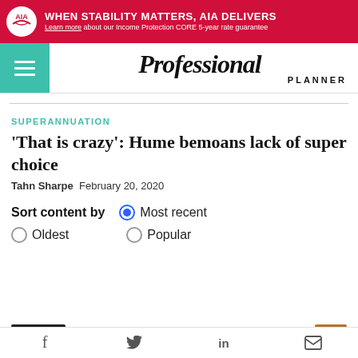[Figure (infographic): AIA advertisement banner: red background with AIA logo, headline 'WHEN STABILITY MATTERS, AIA DELIVERS', subline 'Learn more about our Income Protection CORE 5-year rate guarantee']
Professional Planner
SUPERANNUATION
'That is crazy': Hume bemoans lack of super choice
Tahn Sharpe  February 20, 2020
Sort content by  Most recent  Oldest  Popular
f  Twitter  in  Mail